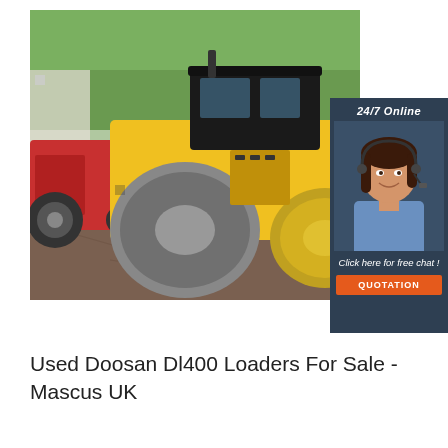[Figure (photo): Yellow road roller / compactor machine with black cab, parked on dirt ground. A red tractor is visible in the background, along with trees.]
[Figure (infographic): 24/7 Online chat widget with a smiling female customer service agent wearing a headset. Dark navy background. Text: '24/7 Online', 'Click here for free chat!', orange 'QUOTATION' button.]
Used Doosan Dl400 Loaders For Sale - Mascus UK